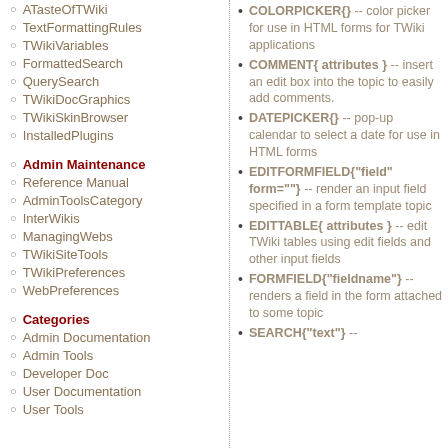ATasteOfTWiki
TextFormattingRules
TWikiVariables
FormattedSearch
QuerySearch
TWikiDocGraphics
TWikiSkinBrowser
InstalledPlugins
Admin Maintenance
Reference Manual
AdminToolsCategory
InterWikis
ManagingWebs
TWikiSiteTools
TWikiPreferences
WebPreferences
Categories
Admin Documentation
Admin Tools
Developer Doc
User Documentation
User Tools
COLORPICKER{} -- color picker for use in HTML forms for TWiki applications
COMMENT{ attributes } -- insert an edit box into the topic to easily add comments.
DATEPICKER{} -- pop-up calendar to select a date for use in HTML forms
EDITFORMFIELD{"field" form=""} -- render an input field specified in a form template topic
EDITTABLE{ attributes } -- edit TWiki tables using edit fields and other input fields
FORMFIELD{"fieldname"} -- renders a field in the form attached to some topic
SEARCH{"text"} --